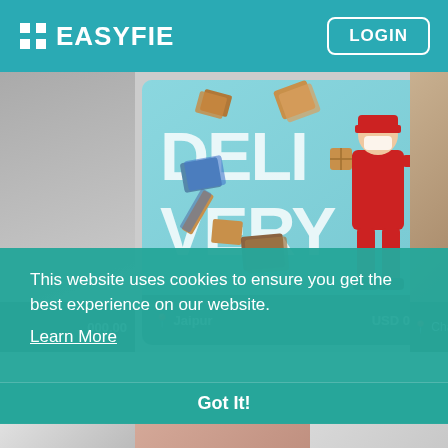EASYFIE  LOGIN
[Figure (screenshot): Delivery service promotional banner showing floating packages and a delivery person in red uniform holding a box, with text 'DELIVERY' in large white letters on a teal/light blue background.]
This website uses cookies to ensure you get the best experience on our website.
Learn More
Got It!
[Figure (photo): Partial bottom strip showing cropped photos at the bottom of the page.]